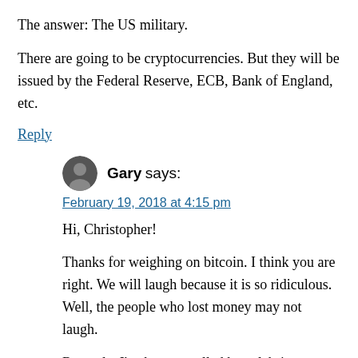The answer: The US military.
There are going to be cryptocurrencies. But they will be issued by the Federal Reserve, ECB, Bank of England, etc.
Reply
Gary says:
February 19, 2018 at 4:15 pm
Hi, Christopher!
Thanks for weighing on bitcoin. I think you are right. We will laugh because it is so ridiculous. Well, the people who lost money may not laugh.
Recently, I've been appalled by celebrity investors promoting cryptocurrencies. I can only imagine